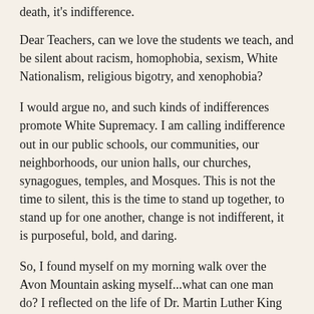death, it's indifference.
Dear Teachers, can we love the students we teach, and be silent about racism, homophobia, sexism, White Nationalism, religious bigotry, and xenophobia?
I would argue no, and such kinds of indifferences promote White Supremacy. I am calling indifference out in our public schools, our communities, our neighborhoods, our union halls, our churches, synagogues, temples, and Mosques. This is not the time to silent, this is the time to stand up together, to stand up for one another, change is not indifferent, it is purposeful, bold, and daring.
So, I found myself on my morning walk over the Avon Mountain asking myself...what can one man do? I reflected on the life of Dr. Martin Luther King Jr, and the legacy of social action he left behind for all of us. I looked back on my the past decade of my activism in this fight for equity and justice for all in our public schools, and my recent role as Moral monday Connecticut's Education Ambassador. This role brings great responsibility, and requires bold actions.
Once, I said I would walk 400 miles to DC to protest the harmful